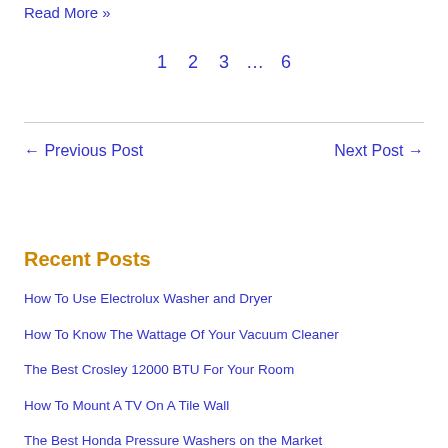investments, and while some of them are
Read More »
1 2 3 ... 6
← Previous Post    Next Post →
Recent Posts
How To Use Electrolux Washer and Dryer
How To Know The Wattage Of Your Vacuum Cleaner
The Best Crosley 12000 BTU For Your Room
How To Mount A TV On A Tile Wall
The Best Honda Pressure Washers on the Market